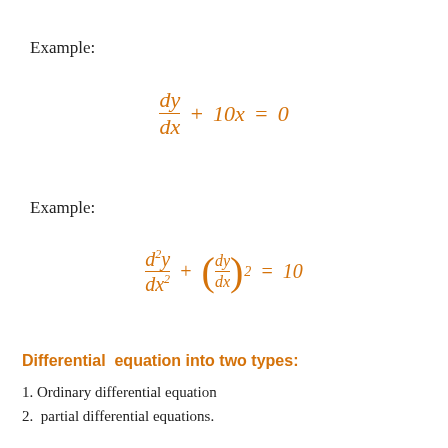Example:
Example:
Differential equation into two types:
1. Ordinary differential equation
2.  partial differential equations.